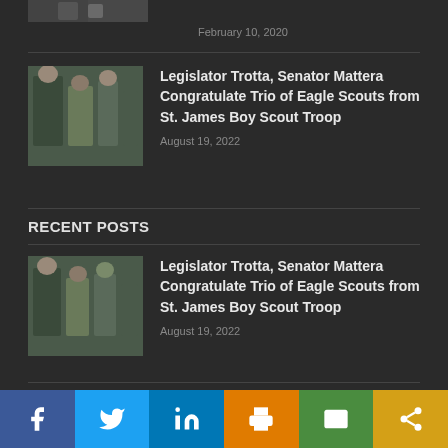[Figure (photo): Partial view of people, cropped at top]
February 10, 2020
Legislator Trotta, Senator Mattera Congratulate Trio of Eagle Scouts from St. James Boy Scout Troop
August 19, 2022
RECENT POSTS
[Figure (photo): Group photo with scouts and legislators]
Legislator Trotta, Senator Mattera Congratulate Trio of Eagle Scouts from St. James Boy Scout Troop
August 19, 2022
[Figure (photo): Partial bottom photo, person speaking]
Governor Hochul Announces Re-Launch of